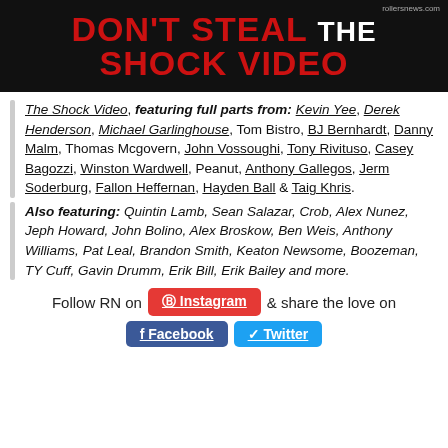[Figure (illustration): Banner image with text 'DON'T STEAL THE SHOCK VIDEO' in red and white on dark background with watermark rollersnews.com]
The Shock Video, featuring full parts from: Kevin Yee, Derek Henderson, Michael Garlinghouse, Tom Bistro, BJ Bernhardt, Danny Malm, Thomas Mcgovern, John Vossoughi, Tony Rivituso, Casey Bagozzi, Winston Wardwell, Peanut, Anthony Gallegos, Jerm Soderburg, Fallon Heffernan, Hayden Ball & Taig Khris.
Also featuring: Quintin Lamb, Sean Salazar, Crob, Alex Nunez, Jeph Howard, John Bolino, Alex Broskow, Ben Weis, Anthony Williams, Pat Leal, Brandon Smith, Keaton Newsome, Boozeman, TY Cuff, Gavin Drumm, Erik Bill, Erik Bailey and more.
Follow RN on Instagram & share the love on Facebook Twitter